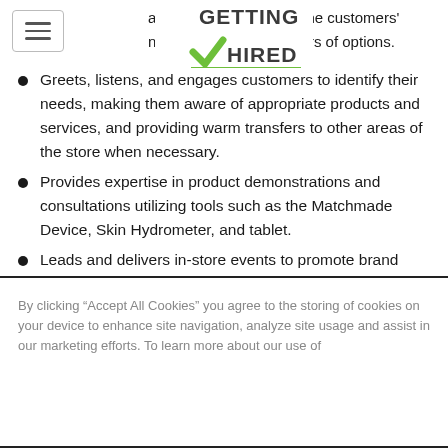[Figure (logo): Getting Hired logo - An Allegis Group Company, with green checkmark and stylized text]
asking questio ne customers' needs, and inf ners of options.
Greets, listens, and engages customers to identify their needs, making them aware of appropriate products and services, and providing warm transfers to other areas of the store when necessary.
Provides expertise in product demonstrations and consultations utilizing tools such as the Matchmade Device, Skin Hydrometer, and tablet.
Leads and delivers in-store events to promote brand awareness and loyalty of Owned
By clicking “Accept All Cookies” you agree to the storing of cookies on your device to enhance site navigation, analyze site usage and assist in our marketing efforts. To learn more about our use of